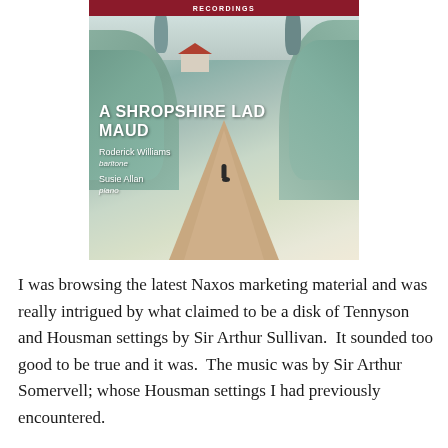[Figure (illustration): Album cover for 'A Shropshire Lad / Maud' on Naxos Recordings. Artwork shows a pastoral English countryside scene with hills, trees, a house, and a winding road with a figure walking. Text overlay: 'A SHROPSHIRE LAD MAUD / Roderick Williams baritone / Susie Allan piano'.]
I was browsing the latest Naxos marketing material and was really intrigued by what claimed to be a disk of Tennyson and Housman settings by Sir Arthur Sullivan.  It sounded too good to be true and it was.  The music was by Sir Arthur Somervell; whose Housman settings I had previously encountered.